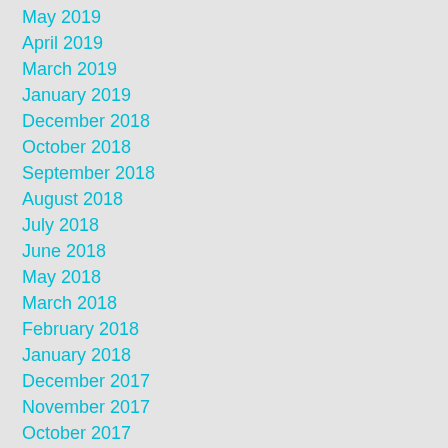May 2019
April 2019
March 2019
January 2019
December 2018
October 2018
September 2018
August 2018
July 2018
June 2018
May 2018
March 2018
February 2018
January 2018
December 2017
November 2017
October 2017
September 2017
August 2017